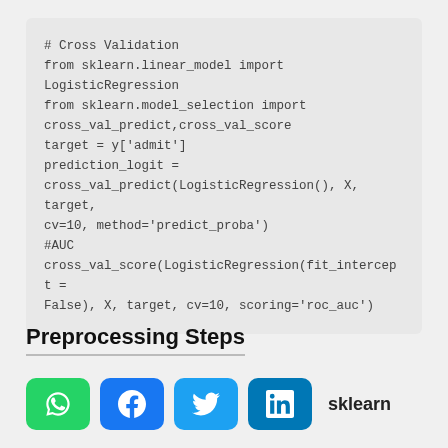[Figure (screenshot): Code block showing Python Cross Validation snippet using sklearn]
Preprocessing Steps
[Figure (infographic): Social share buttons: WhatsApp, Facebook, Twitter, LinkedIn, followed by text 'sklearn']